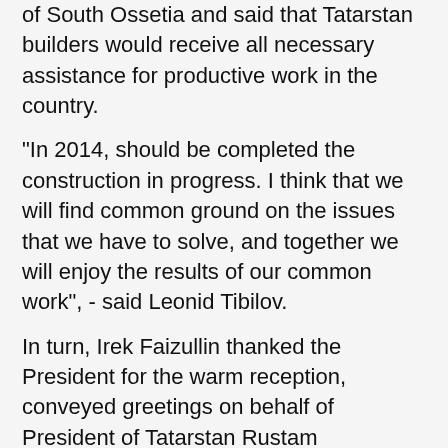of South Ossetia and said that Tatarstan builders would receive all necessary assistance for productive work in the country.
"In 2014, should be completed the construction in progress. I think that we will find common ground on the issues that we have to solve, and together we will enjoy the results of our common work", - said Leonid Tibilov.
In turn, Irek Faizullin thanked the President for the warm reception, conveyed greetings on behalf of President of Tatarstan Rustam Minnikhanov and invited to visit the country.
Irek Faizullin has also assured the head of the South Ossetian state that the construction works will involve local contractors. "There will be a systematic work, we will try to mobilize for a month and get real results by the end of 2014," - he said.
Construction companies of the Republic of Tatarstan, famous for the construction of facilities of the World